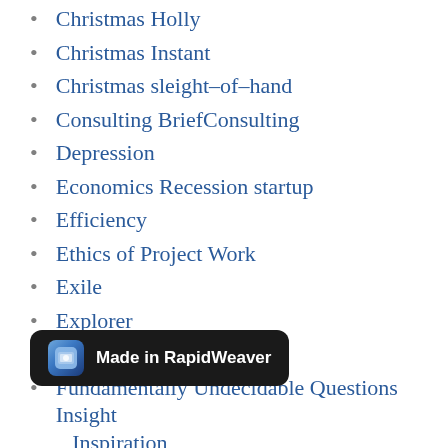Christmas Holly
Christmas Instant
Christmas sleight-of-hand
Consulting BriefConsulting
Depression
Economics Recession startup
Efficiency
Ethics of Project Work
Exile
Explorer
Fracking
Fundamentally Undecidable Questions Insight Inspiration
Games
Goal Setting
Granddaughter
[Figure (screenshot): Toast notification overlay reading 'Made in RapidWeaver' with a RapidWeaver app icon on dark background]